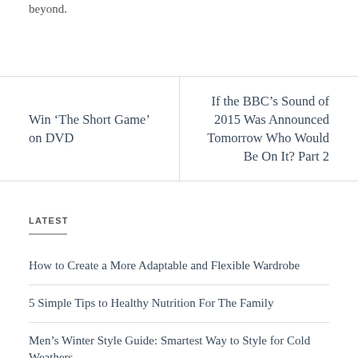beyond.
Win ‘The Short Game’ on DVD
If the BBC’s Sound of 2015 Was Announced Tomorrow Who Would Be On It? Part 2
LATEST
How to Create a More Adaptable and Flexible Wardrobe
5 Simple Tips to Healthy Nutrition For The Family
Men’s Winter Style Guide: Smartest Way to Style for Cold Weathers
How to Wear Boyger Outfits in A Stylish Way?